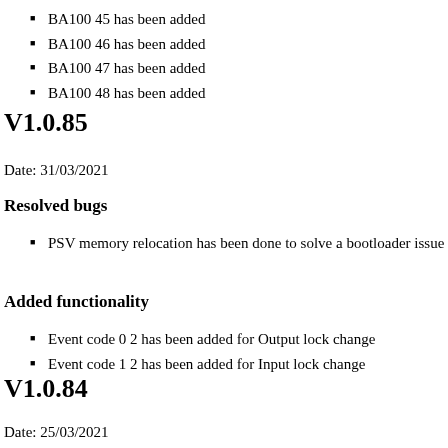BA100 45 has been added
BA100 46 has been added
BA100 47 has been added
BA100 48 has been added
V1.0.85
Date: 31/03/2021
Resolved bugs
PSV memory relocation has been done to solve a bootloader issue
Added functionality
Event code 0 2 has been added for Output lock change
Event code 1 2 has been added for Input lock change
V1.0.84
Date: 25/03/2021